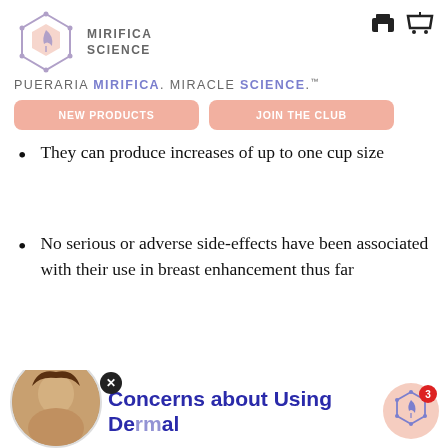MIRIFICA SCIENCE — PUERARIA MIRIFICA. MIRACLE SCIENCE.™
[Figure (logo): Mirifica Science hexagonal logo with leaf icon]
They can produce increases of up to one cup size
No serious or adverse side-effects have been associated with their use in breast enhancement thus far
Concerns about Using Dermal Ti...
[Figure (photo): Chat avatar — woman talking, circular thumbnail with X close button]
[Figure (logo): Mirifica Science hexagonal chat icon with notification badge showing 3]